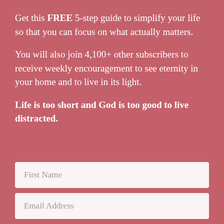Get this FREE 5-step guide to simplify your life so that you can focus on what actually matters.
You will also join 4,100+ other subscribers to receive weekly encouragement to see eternity in your home and to live in its light.
Life is too short and God is too good to live distracted.